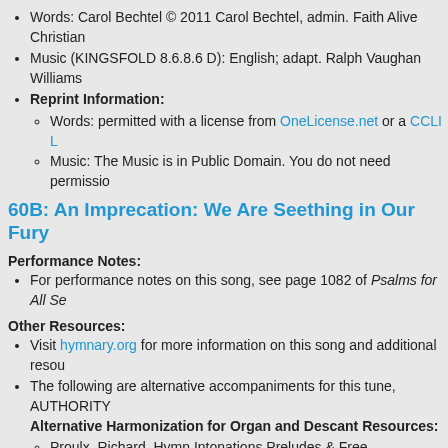Words: Carol Bechtel © 2011 Carol Bechtel, admin. Faith Alive Christian
Music (KINGSFOLD 8.6.8.6 D): English; adapt. Ralph Vaughan Williams
Reprint Information:
Words: permitted with a license from OneLicense.net or a CCLI L
Music: The Music is in Public Domain. You do not need permissio
60B: An Imprecation: We Are Seething in Our Fury
Performance Notes:
For performance notes on this song, see page 1082 of Psalms for All Se
Other Resources:
Visit hymnary.org for more information on this song and additional resou
The following are alternative accompaniments for this tune, AUTHORITY Alternative Harmonization for Organ and Descant Resources:
Proulx, Richard. Hymn Intonations Preludes & Free Harmonizatio
Copyright Information: